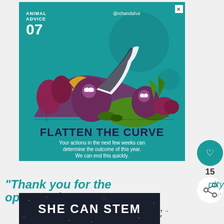[Figure (illustration): Teal/turquoise illustrated infographic card titled 'ANIMAL ADVICE 07' with '@rchandahot' handle. Features illustrated animals (lemurs/cats with masks) among colorful foliage in purple, green, orange tones forming a curve shape. Text reads 'FLATTEN THE CURVE - Your actions in the next few weeks can determine the outcome of this year. We can end this quickly.' with a close (X) button in top right corner.]
15
WHAT'S NEXT → "Thank you for your..."
"Thank you for the opportunity
[Figure (infographic): Dark navy/black banner with text 'SHE CAN STEM' in bold white capital letters with subtle star/dot texture background.]